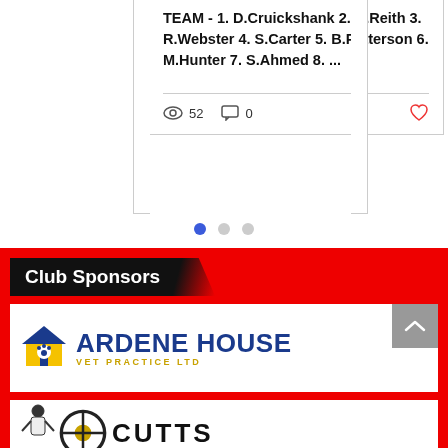TEAM - 1. D.Cruickshank 2. C.Reith 3. R.Webster 4. S.Carter 5. B.Patterson 6. M.Hunter 7. S.Ahmed 8. ...
52 views, 0 comments, heart/like icon
[Figure (infographic): Pagination dots: one filled blue dot and two grey dots indicating carousel position]
Club Sponsors
[Figure (logo): Ardene House Vet Practice Ltd logo: blue house with paw print icon, blue text ARDENE HOUSE, gold text VET PRACTICE LTD]
[Figure (logo): Partially visible logo at bottom showing letters CUTTS or similar with a figure and wheel graphic]